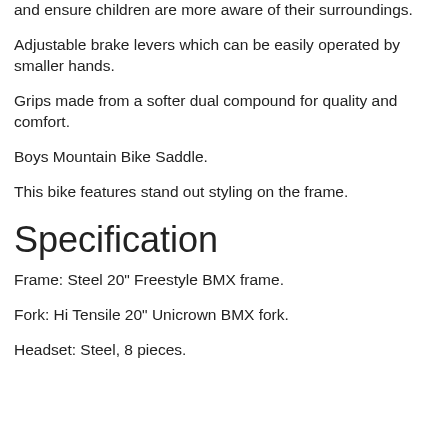…upswept handlebars help to promote a good riding position and ensure children are more aware of their surroundings.
Adjustable brake levers which can be easily operated by smaller hands.
Grips made from a softer dual compound for quality and comfort.
Boys Mountain Bike Saddle.
This bike features stand out styling on the frame.
Specification
Frame: Steel 20" Freestyle BMX frame.
Fork: Hi Tensile 20" Unicrown BMX fork.
Headset: Steel, 8 pieces.